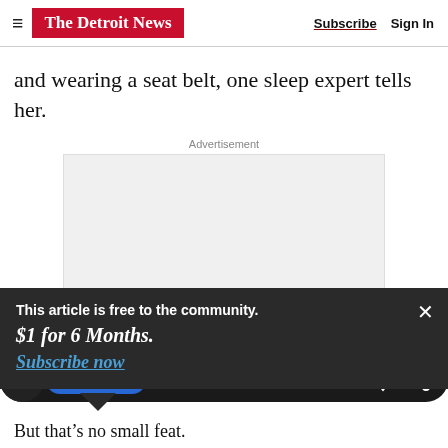The Detroit News | Subscribe  Sign In
and wearing a seat belt, one sleep expert tells her.
Advertisement
[Figure (other): Empty advertisement placeholder box]
This article is free to the community.
$1 for 6 Months.
Subscribe now
But that’s no small feat.